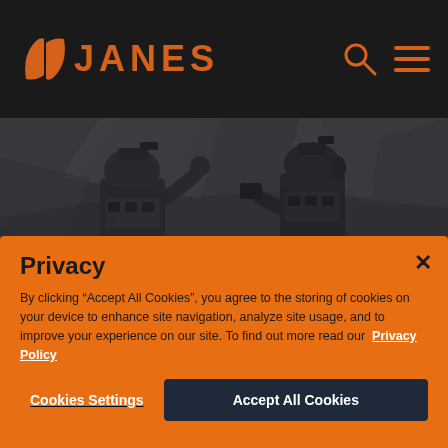JANES
[Figure (photo): Two soldiers in full military gear and helmets communicating in a rocky/cave environment, rendered in dark grayscale/monochrome tones.]
Privacy
By clicking “Accept All Cookies”, you agree to the storing of cookies on your device to enhance site navigation, analyze site usage, and to improve your experience on our site. To find out more read our Privacy Policy
Cookies Settings
Accept All Cookies